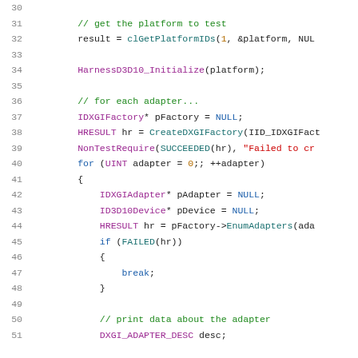[Figure (screenshot): Source code listing showing C/C++ code lines 30-51 with syntax highlighting. Lines show OpenCL/DirectX initialization code including clGetPlatformIDs, HarnessD3D10_Initialize, IDXGIFactory, CreateDXGIFactory, NonTestRequire, for loop with adapter enumeration, IDXGIAdapter, ID3D10Device, pFactory->EnumAdapters, FAILED check with break, and DXGI_ADAPTER_DESC.]